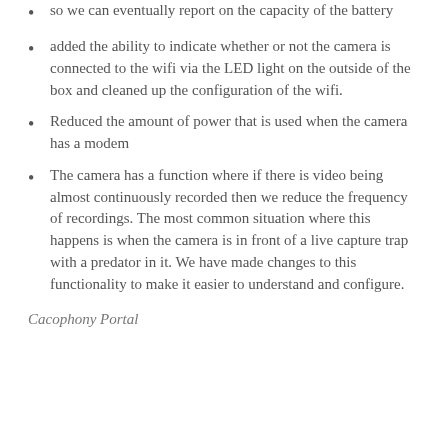so we can eventually report on the capacity of the battery
added the ability to indicate whether or not the camera is connected to the wifi via the LED light on the outside of the box and cleaned up the configuration of the wifi.
Reduced the amount of power that is used when the camera has a modem
The camera has a function where if there is video being almost continuously recorded then we reduce the frequency of recordings. The most common situation where this happens is when the camera is in front of a live capture trap with a predator in it. We have made changes to this functionality to make it easier to understand and configure.
Cacophony Portal